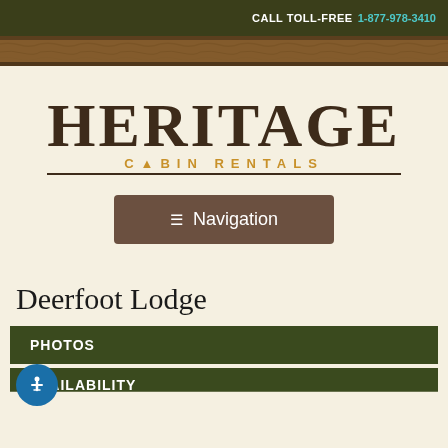CALL TOLL-FREE 1-877-978-3410
[Figure (illustration): Rustic wood grain decorative band]
HERITAGE CABIN RENTALS
≡ Navigation
Deerfoot Lodge
PHOTOS
AVAILABILITY